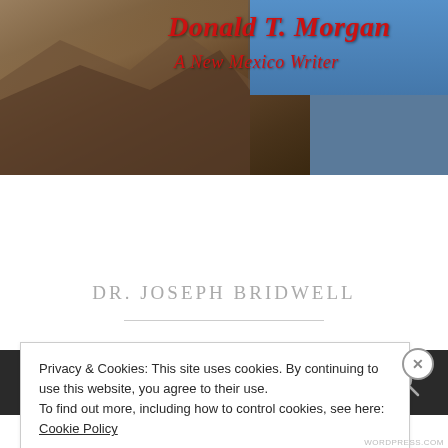[Figure (illustration): Website header banner showing rocky desert landscape with blue sky on the right side]
Donald T. Morgan
A New Mexico Writer
[Figure (other): Dark navigation bar with hamburger menu icon on left and search icon on right]
DR. JOSEPH BRIDWELL
Privacy & Cookies: This site uses cookies. By continuing to use this website, you agree to their use.
To find out more, including how to control cookies, see here: Cookie Policy
Close and accept